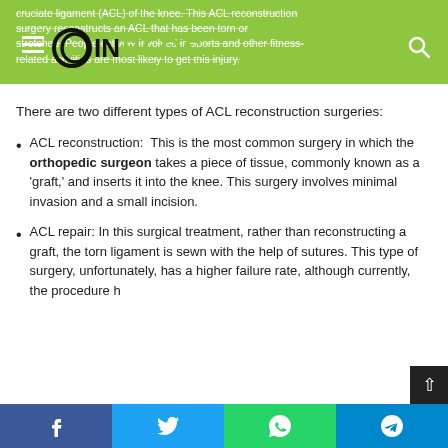CIN Blog
cruciate ligament (ACL) of the knee. This ACL reconstruction surgery reconstructs an ACL that has been torn or stretched. People actively involved in sports and other fitness-related activities are most likely to get this injury.
There are two different types of ACL reconstruction surgeries:
ACL reconstruction: This is the most common surgery in which the orthopedic surgeon takes a piece of tissue, commonly known as a ‘graft,’ and inserts it into the knee. This surgery involves minimal invasion and a small incision.
ACL repair: In this surgical treatment, rather than reconstructing a graft, the torn ligament is sewn with the help of sutures. This type of surgery, unfortunately, has a higher failure rate, although currently, the procedure h